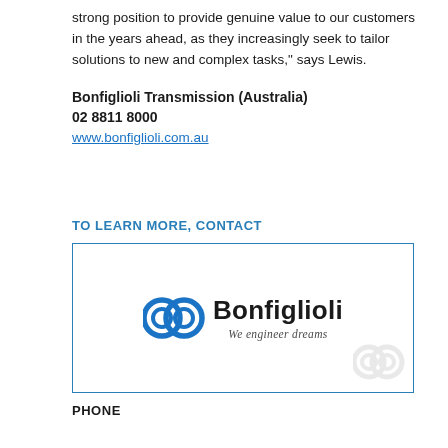strong position to provide genuine value to our customers in the years ahead, as they increasingly seek to tailor solutions to new and complex tasks," says Lewis.
Bonfiglioli Transmission (Australia)
02 8811 8000
www.bonfiglioli.com.au
TO LEARN MORE, CONTACT
[Figure (logo): Bonfiglioli logo with interlocking chain rings symbol and tagline 'We engineer dreams']
PHONE